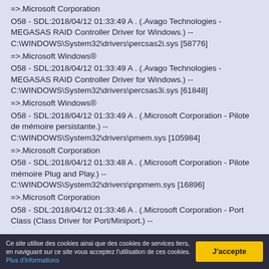=>.Microsoft Corporation
O58 - SDL:2018/04/12 01:33:49 A . (.Avago Technologies - MEGASAS RAID Controller Driver for Windows.) -- C:\WINDOWS\System32\drivers\percsas2i.sys [58776]
=>.Microsoft Windows®
O58 - SDL:2018/04/12 01:33:49 A . (.Avago Technologies - MEGASAS RAID Controller Driver for Windows.) -- C:\WINDOWS\System32\drivers\percsas3i.sys [61848]
=>.Microsoft Windows®
O58 - SDL:2018/04/12 01:33:49 A . (.Microsoft Corporation - Pilote de mémoire persistante.) -- C:\WINDOWS\System32\drivers\pmem.sys [105984]
=>.Microsoft Corporation
O58 - SDL:2018/04/12 01:33:48 A . (.Microsoft Corporation - Pilote mémoire Plug and Play.) -- C:\WINDOWS\System32\drivers\pnpmem.sys [16896]
=>.Microsoft Corporation
O58 - SDL:2018/04/12 01:33:46 A . (.Microsoft Corporation - Port Class (Class Driver for Port/Miniport.) --
Ce site utilise des cookies ainsi que des cookies de services tiers, en naviguant sur ce site vous acceptez l'utilisation de ces cookies. Plus d'informations
J'accepte